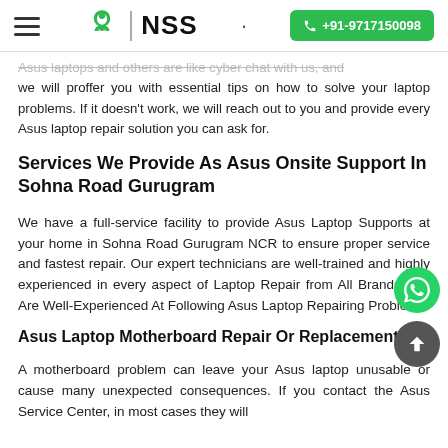NSS | +91-9717150098
Asus laptops and others are like cyber chat with us, and we will proffer you with essential tips on how to solve your laptop problems. If it doesn't work, we will reach out to you and provide every Asus laptop repair solution you can ask for.
Services We Provide As Asus Onsite Support In Sohna Road Gurugram
We have a full-service facility to provide Asus Laptop Supports at your home in Sohna Road Gurugram NCR to ensure proper service and fastest repair. Our expert technicians are well-trained and highly experienced in every aspect of Laptop Repair from All Brands. We Are Well-Experienced At Following Asus Laptop Repairing Problems:
Asus Laptop Motherboard Repair Or Replacement
A motherboard problem can leave your Asus laptop unusable or cause many unexpected consequences. If you contact the Asus Service Center, in most cases they will